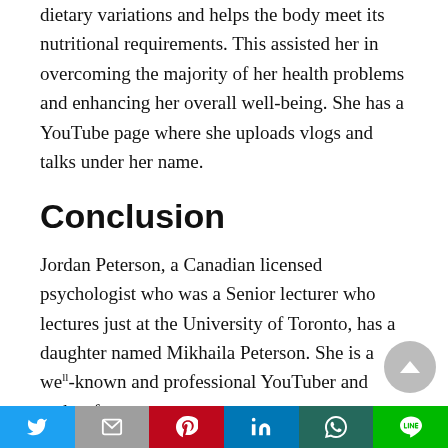dietary variations and helps the body meet its nutritional requirements. This assisted her in overcoming the majority of her health problems and enhancing her overall well-being. She has a YouTube page where she uploads vlogs and talks under her name.
Conclusion
Jordan Peterson, a Canadian licensed psychologist who was a Senior lecturer who lectures just at the University of Toronto, has a daughter named Mikhaila Peterson. She is a well-known and professional YouTuber and author from
[Figure (other): Social media sharing bar with Twitter, Mail, Pinterest, LinkedIn, WhatsApp, and Line buttons]